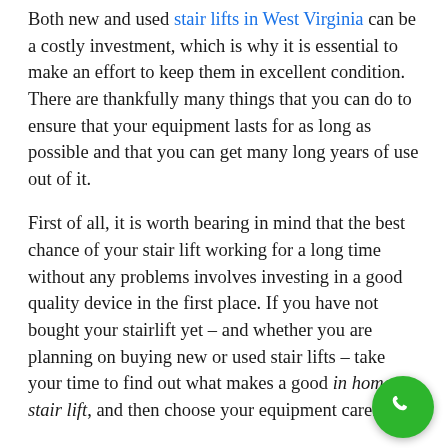Both new and used stair lifts in West Virginia can be a costly investment, which is why it is essential to make an effort to keep them in excellent condition. There are thankfully many things that you can do to ensure that your equipment lasts for as long as possible and that you can get many long years of use out of it.
First of all, it is worth bearing in mind that the best chance of your stair lift working for a long time without any problems involves investing in a good quality device in the first place. If you have not bought your stairlift yet – and whether you are planning on buying new or used stair lifts – take your time to find out what makes a good in home stair lift, and then choose your equipment carefully.
[Figure (other): Green circular phone call button in bottom right corner]